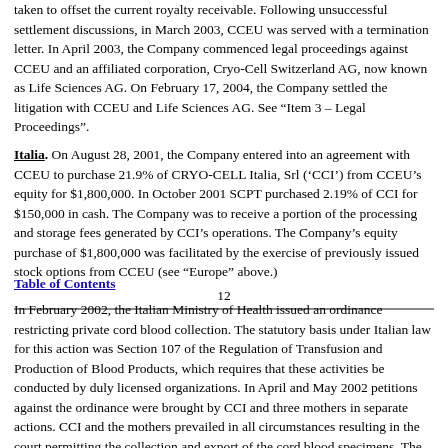taken to offset the current royalty receivable. Following unsuccessful settlement discussions, in March 2003, CCEU was served with a termination letter. In April 2003, the Company commenced legal proceedings against CCEU and an affiliated corporation, Cryo-Cell Switzerland AG, now known as Life Sciences AG. On February 17, 2004, the Company settled the litigation with CCEU and Life Sciences AG. See "Item 3 – Legal Proceedings".
Italia. On August 28, 2001, the Company entered into an agreement with CCEU to purchase 21.9% of CRYO-CELL Italia, Srl ('CCI') from CCEU's equity for $1,800,000. In October 2001 SCPT purchased 2.19% of CCI for $150,000 in cash. The Company was to receive a portion of the processing and storage fees generated by CCI's operations. The Company's equity purchase of $1,800,000 was facilitated by the exercise of previously issued stock options from CCEU (see "Europe" above.)
12
Table of Contents
In February 2002, the Italian Ministry of Health issued an ordinance restricting private cord blood collection. The statutory basis under Italian law for this action was Section 107 of the Regulation of Transfusion and Production of Blood Products, which requires that these activities be conducted by duly licensed organizations. In April and May 2002 petitions against the ordinance were brought by CCI and three mothers in separate actions. CCI and the mothers prevailed in all circumstances resulting in the court permitting the collection and export of the cord blood specimens. The decisions of the lower courts, however, were upheld on appeal by the Regional Tribunal. In August 2003, the Italian Ministry of